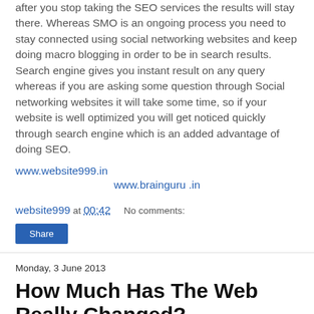after you stop taking the SEO services the results will stay there. Whereas SMO is an ongoing process you need to stay connected using social networking websites and keep doing macro blogging in order to be in search results. Search engine gives you instant result on any query whereas if you are asking some question through Social networking websites it will take some time, so if your website is well optimized you will get noticed quickly through search engine which is an added advantage of doing SEO.
www.website999.in
www.brainguru .in
website999 at 00:42    No comments:
Share
Monday, 3 June 2013
How Much Has The Web Really Changed?